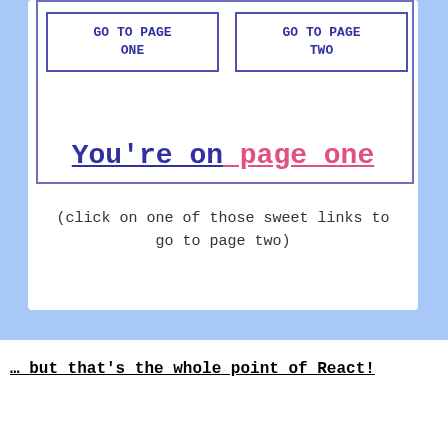GO TO PAGE ONE
GO TO PAGE TWO
You're on page one
(click on one of those sweet links to go to page two)
… but that's the whole point of React!